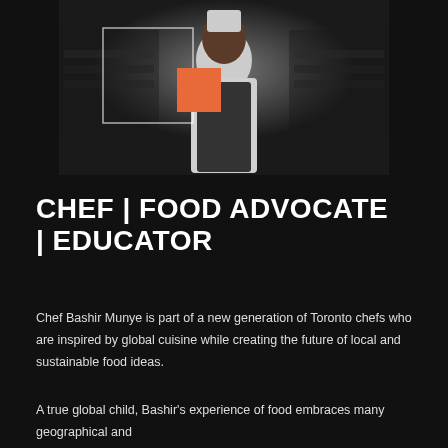[Figure (photo): Black and white photograph of Chef Bashir Munye in a chef's coat and apron standing in a market or food hall. A white rectangle outline is overlaid on the left side and an orange square accent appears in the center of the image.]
CHEF | FOOD ADVOCATE | EDUCATOR
Chef Bashir Munye is part of a new generation of Toronto chefs who are inspired by global cuisine while creating the future of local and sustainable food ideas.
A true global child, Bashir's experience of food embraces many geographical and